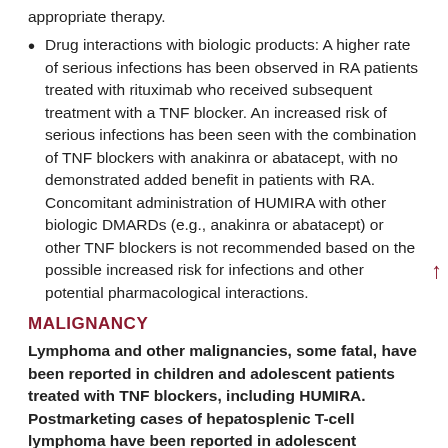appropriate therapy.
Drug interactions with biologic products: A higher rate of serious infections has been observed in RA patients treated with rituximab who received subsequent treatment with a TNF blocker. An increased risk of serious infections has been seen with the combination of TNF blockers with anakinra or abatacept, with no demonstrated added benefit in patients with RA. Concomitant administration of HUMIRA with other biologic DMARDs (e.g., anakinra or abatacept) or other TNF blockers is not recommended based on the possible increased risk for infections and other potential pharmacological interactions.
MALIGNANCY
Lymphoma and other malignancies, some fatal, have been reported in children and adolescent patients treated with TNF blockers, including HUMIRA. Postmarketing cases of hepatosplenic T-cell lymphoma have been reported in adolescent...